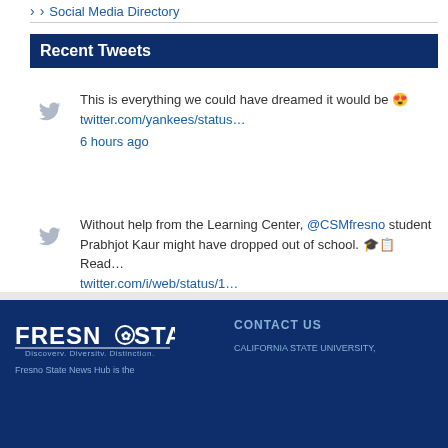Social Media Directory
Recent Tweets
This is everything we could have dreamed it would be 😍 twitter.com/yankees/status… 6 hours ago
Without help from the Learning Center, @CSMfresno student Prabhjot Kaur might have dropped out of school. 🎓📋 Read… twitter.com/i/web/status/1… 6 hours ago
[Figure (logo): Fresno State logo with tagline Discovery. Diversity. Distinction.]
Fresno State News Hub is the
CONTACT US
CALIFORNIA STATE UNIVERSITY,